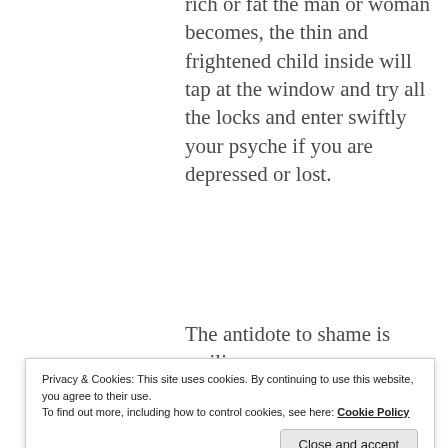rich or fat the man or woman becomes, the thin and frightened child inside will tap at the window and try all the locks and enter swiftly your psyche if you are depressed or lost.
The antidote to shame is resilience
does not reveal it, nor
Privacy & Cookies: This site uses cookies. By continuing to use this website, you agree to their use.
To find out more, including how to control cookies, see here: Cookie Policy